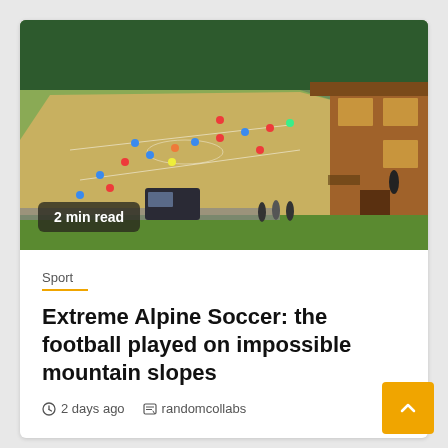[Figure (photo): Aerial/wide-angle photograph of people playing football/soccer on a steep alpine mountain slope. A wooden chalet/cabin is visible on the right, surrounded by green trees and grass. Several players in colored kits are scattered across the grassy hillside. A dark van is parked near the bottom. Some spectators stand near the building entrance. A '2 min read' badge overlays the lower-left of the image.]
2 min read
Sport
Extreme Alpine Soccer: the football played on impossible mountain slopes
2 days ago   randomcollabs